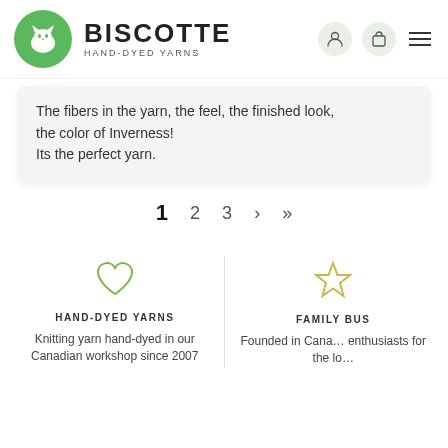BISCOTTE HAND-DYED YARNS
The fibers in the yarn, the feel, the finished look, the color of Inverness!
Its the perfect yarn.
1  2  3  >  >>
HAND-DYED YARNS
Knitting yarn hand-dyed in our Canadian workshop since 2007
FAMILY BUS
Founded in Cana… enthusiasts for the lo…